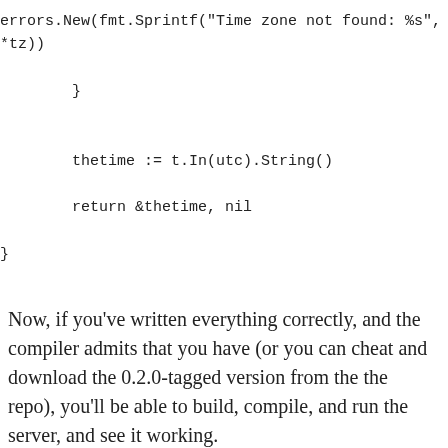errors.New(fmt.Sprintf("Time zone not found: %s",
*tz))

        }


        thetime := t.In(utc).String()

        return &thetime, nil

}
Now, if you've written everything correctly, and the compiler admits that you have (or you can cheat and download the 0.2.0-tagged version from the the repo), you'll be able to build, compile, and run the server, and see it working.